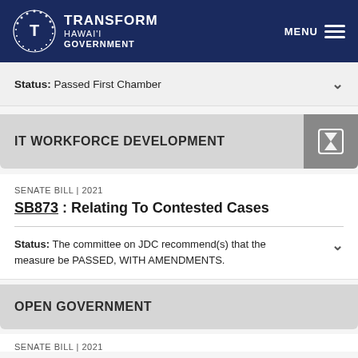TRANSFORM HAWAI'I GOVERNMENT | MENU
Status: Passed First Chamber
IT WORKFORCE DEVELOPMENT
SENATE BILL | 2021
SB873 : Relating To Contested Cases
Status: The committee on JDC recommend(s) that the measure be PASSED, WITH AMENDMENTS.
OPEN GOVERNMENT
SENATE BILL | 2021